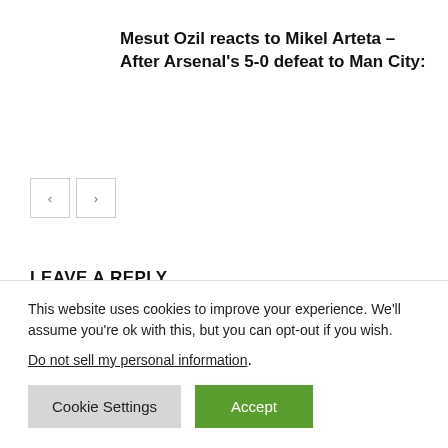Mesut Ozil reacts to Mikel Arteta – After Arsenal's 5-0 defeat to Man City:
[Figure (other): Navigation previous and next arrow buttons]
LEAVE A REPLY
Comment:
This website uses cookies to improve your experience. We'll assume you're ok with this, but you can opt-out if you wish.
Do not sell my personal information.
Cookie Settings  Accept